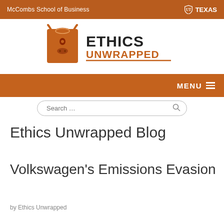McCombs School of Business | TEXAS
[Figure (logo): Ethics Unwrapped logo with orange bull head and text ETHICS UNWRAPPED]
MENU
Search …
Ethics Unwrapped Blog
Volkswagen's Emissions Evasion
by Ethics Unwrapped